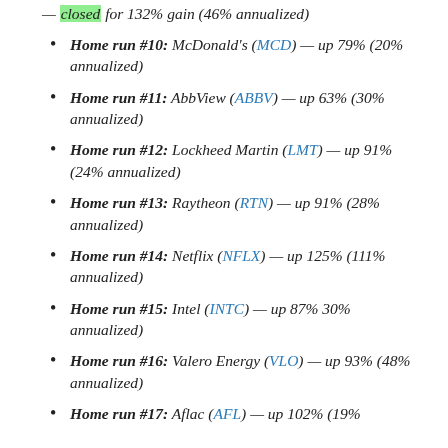— closed for 132% gain (46% annualized)
Home run #10: McDonald's (MCD) — up 79% (20% annualized)
Home run #11: AbbView (ABBV) — up 63% (30% annualized)
Home run #12: Lockheed Martin (LMT) — up 91% (24% annualized)
Home run #13: Raytheon (RTN) — up 91% (28% annualized)
Home run #14: Netflix (NFLX) — up 125% (111% annualized)
Home run #15: Intel (INTC) — up 87% 30% annualized)
Home run #16: Valero Energy (VLO) — up 93% (48% annualized)
Home run #17: Aflac (AFL) — up 102% (19%